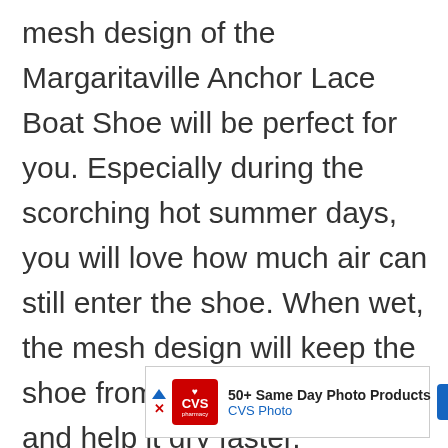mesh design of the Margaritaville Anchor Lace Boat Shoe will be perfect for you. Especially during the scorching hot summer days, you will love how much air can still enter the shoe. When wet, the mesh design will keep the shoe from being waterlogged and help it dry faster.
[Figure (other): CVS Pharmacy advertisement banner: '50+ Same Day Photo Products - CVS Photo' with CVS logo and navigation arrows]